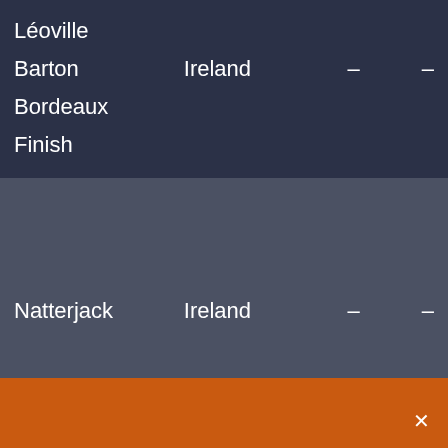Léoville
Barton    Ireland    –    –
Bordeaux
Finish
Natterjack    Ireland    –    –